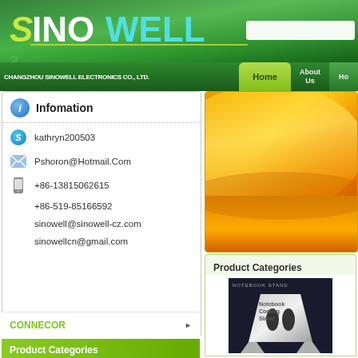[Figure (logo): Sinowell company logo — green gradient background with stylized S in yellow-green and INOWELL in white/cyan text]
CHANGZHOU SINOWELL ELECTRONICS CO., LTD.
Infomation
kathryn200503
Pshoron@Hotmail.Com
+86-13815062615
+86-519-85166592
sinowell@sinowell-cz.com
sinowellcn@gmail.com
Product Categories
CABLE & WIRE
CONNECOR
AMPLIFER
[Figure (illustration): Orange/yellow gradient promotional banner image]
Product Categories
[Figure (photo): Notebook Cooling Stand product photograph — white/grey angular laptop stand]